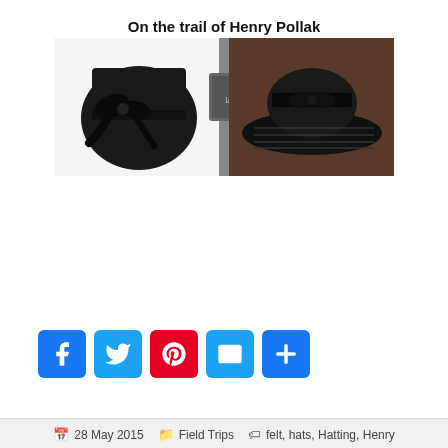[Figure (photo): Two black hats on a light background — a round felt hat with a large bow on the left, and a wide-brimmed black sequined/beaded hat with a velvet bow on the right. Text overlay reads 'On the trail of Henry Pollak'.]
[Figure (infographic): Social media share buttons: Facebook (blue), Twitter (blue), Pinterest (red), Email/Mail (blue), More/Plus (blue)]
28 May 2015   Field Trips   felt, hats, Hatting, Henry